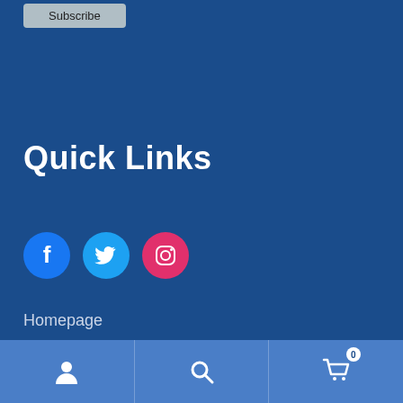Subscribe
Quick Links
[Figure (illustration): Three social media icon circles: Facebook (blue), Twitter (light blue), Instagram (pink/red)]
Homepage
[Figure (infographic): Bottom navigation bar with user/account icon, search icon, and shopping cart icon with badge showing 0]